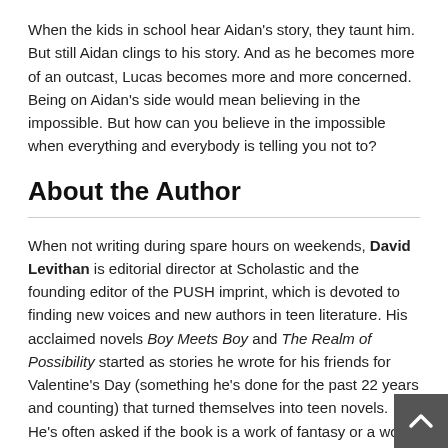When the kids in school hear Aidan's story, they taunt him. But still Aidan clings to his story. And as he becomes more of an outcast, Lucas becomes more and more concerned. Being on Aidan's side would mean believing in the impossible. But how can you believe in the impossible when everything and everybody is telling you not to?
About the Author
When not writing during spare hours on weekends, David Levithan is editorial director at Scholastic and the founding editor of the PUSH imprint, which is devoted to finding new voices and new authors in teen literature. His acclaimed novels Boy Meets Boy and The Realm of Possibility started as stories he wrote for his friends for Valentine's Day (something he's done for the past 22 years and counting) that turned themselves into teen novels. He's often asked if the book is a work of fantasy or a work of reality, and the answer is right